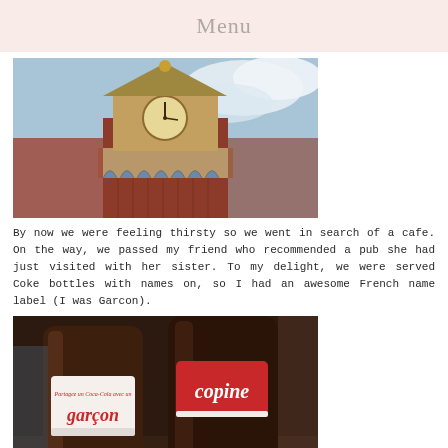Menu
[Figure (photo): Photo of a tall ornate clock tower with red brick and gothic architecture against a blue sky with white clouds]
By now we were feeling thirsty so we went in search of a cafe. On the way, we passed my friend who recommended a pub she had just visited with her sister. To my delight, we were served Coke bottles with names on, so I had an awesome French name label (I was Garcon).
[Figure (photo): Photo of two Coca-Cola bottles with French name labels: 'garçon' on one and 'copine' on the other, with glasses visible in the background]